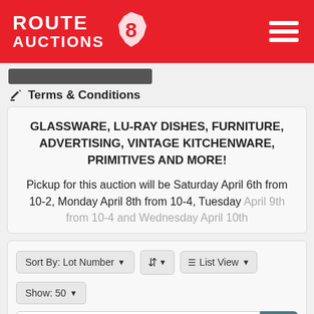[Figure (logo): Route 8 Auctions logo on red header background with hamburger menu icon]
Terms & Conditions
GLASSWARE, LU-RAY DISHES, FURNITURE, ADVERTISING, VINTAGE KITCHENWARE, PRIMITIVES AND MORE!
Pickup for this auction will be Saturday April 6th from 10-2, Monday April 8th from 10-4, Tuesday April 9th from 10-4 and Wednesday April 10th
Sort By: Lot Number | List View | Show: 50 | search items